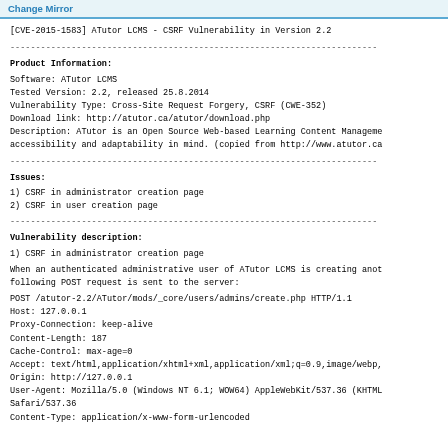Change Mirror
[CVE-2015-1583] ATutor LCMS - CSRF Vulnerability in Version 2.2
------------------------------------------------------------------------
Product Information:
Software: ATutor LCMS
Tested Version: 2.2, released 25.8.2014
Vulnerability Type: Cross-Site Request Forgery, CSRF (CWE-352)
Download link: http://atutor.ca/atutor/download.php
Description: ATutor is an Open Source Web-based Learning Content Manage
accessibility and adaptability in mind. (copied from http://www.atutor.ca
------------------------------------------------------------------------
Issues:
1) CSRF in administrator creation page
2) CSRF in user creation page
------------------------------------------------------------------------
Vulnerability description:
1) CSRF in administrator creation page
When an authenticated administrative user of ATutor LCMS is creating anot
following POST request is sent to the server:
POST /atutor-2.2/ATutor/mods/_core/users/admins/create.php HTTP/1.1
Host: 127.0.0.1
Proxy-Connection: keep-alive
Content-Length: 187
Cache-Control: max-age=0
Accept: text/html,application/xhtml+xml,application/xml;q=0.9,image/webp,
Origin: http://127.0.0.1
User-Agent: Mozilla/5.0 (Windows NT 6.1; WOW64) AppleWebKit/537.36 (KHTML
Safari/537.36
Content-Type: application/x-www-form-urlencoded